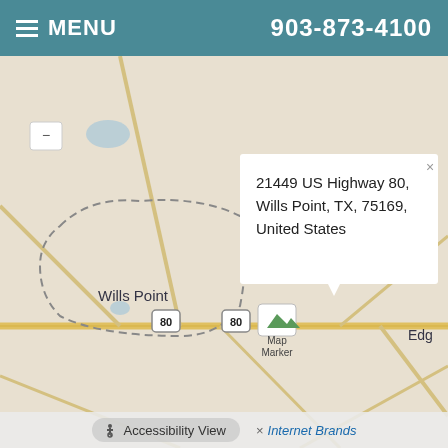MENU   903-873-4100
[Figure (map): Street map showing Wills Point, TX area with US Highway 80, dashed city boundary lines, roads, and a map marker at 21449 US Highway 80. A popup balloon shows the address. Partial text 'Edg' visible at right edge.]
21449 US Highway 80, Wills Point, TX, 75169, United States
Accessibility View   × Internet Brands